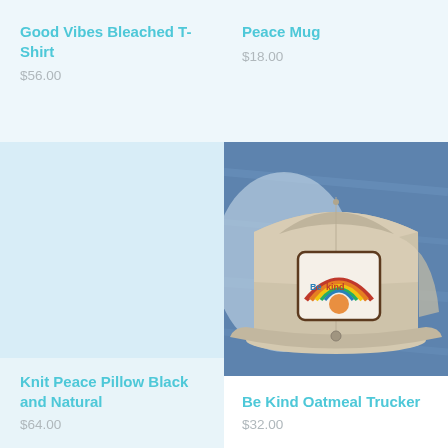Good Vibes Bleached T-Shirt
$56.00
Peace Mug
$18.00
[Figure (photo): Light blue/white empty product image placeholder for Knit Peace Pillow]
[Figure (photo): Photo of a beige trucker hat with a 'Be Kind' rainbow patch, placed on a denim jacket]
Knit Peace Pillow Black and Natural
$64.00
Be Kind Oatmeal Trucker
$32.00